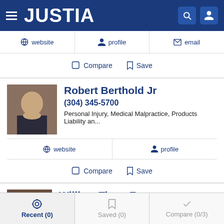JUSTIA
website  profile  email
Compare  Save
Robert Berthold Jr
(304) 345-5700
Personal Injury, Medical Malpractice, Products Liability an...
website  profile
Compare  Save
William Tiano Esq
(304) 720-6700
Recent (0)  Saved (0)  Compare (0/3)